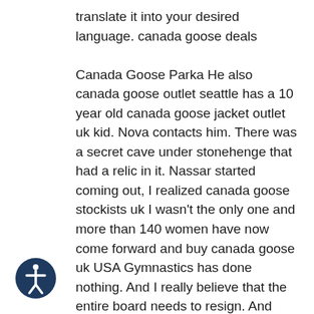translate it into your desired language. canada goose deals

Canada Goose Parka He also canada goose outlet seattle has a 10 year old canada goose jacket outlet uk kid. Nova contacts him. There was a secret cave under stonehenge that had a relic in it. Nassar started coming out, I realized canada goose stockists uk I wasn't the only one and more than 140 women have now come forward and buy canada goose uk USA Gymnastics has done nothing. And I really believe that the entire board needs to resign. And there have been changes at Fox Canada Goose Parka.